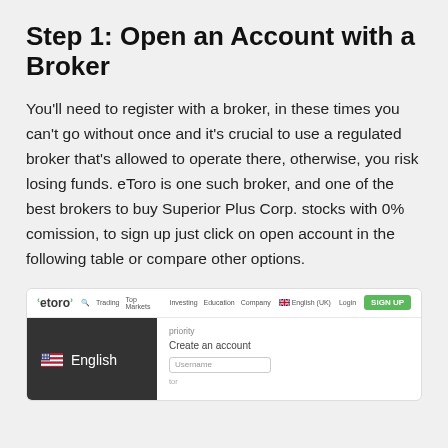Step 1: Open an Account with a Broker
You'll need to register with a broker, in these times you can't go without once and it's crucial to use a regulated broker that's allowed to operate there, otherwise, you risk losing funds. eToro is one such broker, and one of the best brokers to buy Superior Plus Corp. stocks with 0% comission, to sign up just click on open account in the following table or compare other options.
[Figure (screenshot): Screenshot of the eToro website showing the navigation bar with logo, Trading, Top Markets, Investing, Education, Company, English(UK), Login links, a green SIGN UP button, a dark panel showing an English language selector with a US flag, and a 'Create an account' form with a Username field.]